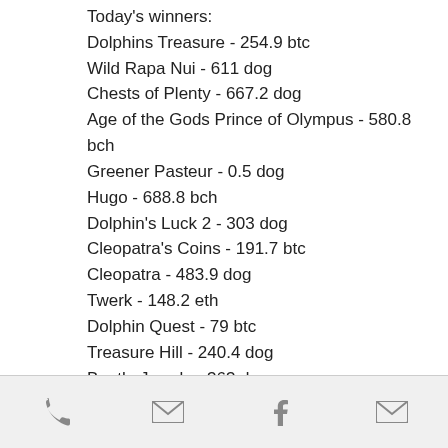Today's winners:
Dolphins Treasure - 254.9 btc
Wild Rapa Nui - 611 dog
Chests of Plenty - 667.2 dog
Age of the Gods Prince of Olympus - 580.8 bch
Greener Pasteur - 0.5 dog
Hugo - 688.8 bch
Dolphin's Luck 2 - 303 dog
Cleopatra's Coins - 191.7 btc
Cleopatra - 483.9 dog
Twerk - 148.2 eth
Dolphin Quest - 79 btc
Treasure Hill - 240.4 dog
Beetle Jewels - 363 dog
Aura of Jupiter moorhuhn Shooter - 586.3 ltc
Big Apple Wins - 302.6 eth
phone, email, facebook, email icons